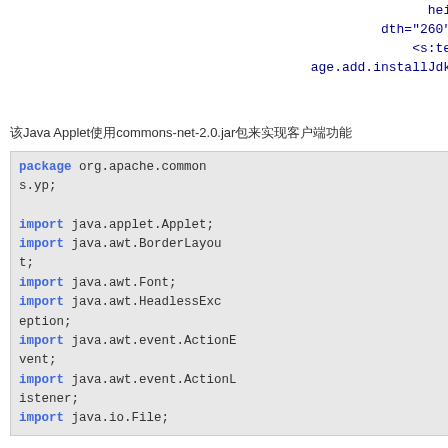height="32" wi
dth="260" mayscript>
<s:text name="im
age.add.installJdk"></s:text>
</applet>
</div>
该Java Applet使用commons-net-2.0.jar包来实现客户端功能
package org.apache.commons.yp;

import java.applet.Applet;
import java.awt.BorderLayout;
import java.awt.Font;
import java.awt.HeadlessException;
import java.awt.event.ActionEvent;
import java.awt.event.ActionListener;
import java.io.File;
链接
最新评论(3)
链接
链接链接
链接链接
标签云
Andriod(2) XML
CSS(1) XML
ES(1) XML
Hibernate/ibatis(9) XML
HTML5(1) XML
J2EE(8) XML
JAVA(26) XML
JavaScript(10) XML
JQuery(13) XML
JSP/servlet(5) XML
Linux(26) XML
Netty(4) XML
Nginx,Lua(2) XML
NoSql(1) XML
Python(2) XML